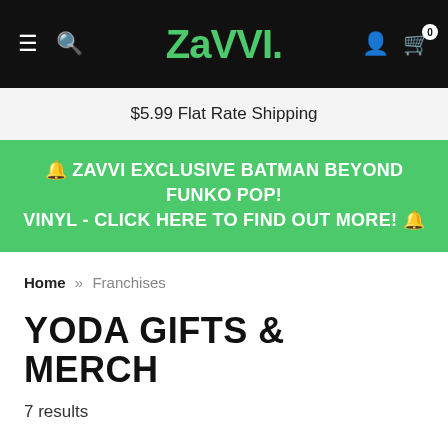ZAVVI | $5.99 Flat Rate Shipping
🔔 ZAVVI EXCLUSIVE BATMAN BEYOND FUNKO POP! VINYL - CLICK HERE TO FIND OUT MORE! 🔔
Home » Franchises
YODA GIFTS & MERCH
7 results
Default | Refine